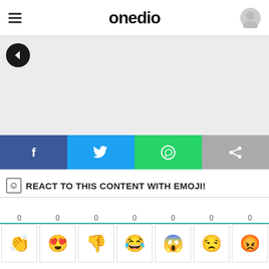onedio
[Figure (screenshot): Back arrow button and grey content area]
[Figure (infographic): Social share bar with Facebook, Twitter, WhatsApp, and Share buttons]
REACT TO THIS CONTENT WITH EMOJI!
[Figure (infographic): Emoji reaction row with 7 emojis (clapping, heart-eyes, thumbs-down, laughing-crying, shocked, cool, angry) each showing count 0]